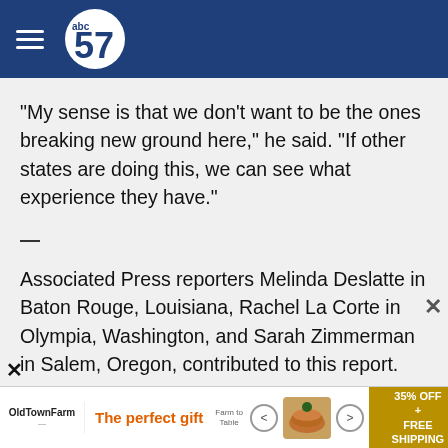abc57 news logo header
"My sense is that we don't want to be the ones breaking new ground here," he said. "If other states are doing this, we can see what experience they have."
—
Associated Press reporters Melinda Deslatte in Baton Rouge, Louisiana, Rachel La Corte in Olympia, Washington, and Sarah Zimmerman in Salem, Oregon, contributed to this report.
—
Follow Geoff Mulvihill at